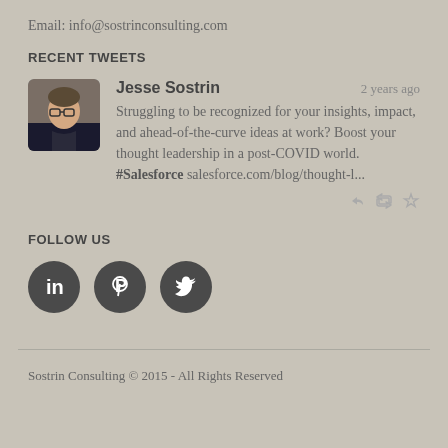Email: info@sostrinconsulting.com
RECENT TWEETS
Jesse Sostrin  2 years ago
Struggling to be recognized for your insights, impact, and ahead-of-the-curve ideas at work? Boost your thought leadership in a post-COVID world. #Salesforce salesforce.com/blog/thought-l...
FOLLOW US
[Figure (infographic): Three circular social media icons: LinkedIn, Pinterest, Twitter, all dark gray]
Sostrin Consulting © 2015 - All Rights Reserved